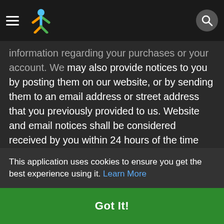Navigation bar with hamburger menu, Mariadda logo, and search button
information regarding your purchases or your account. We may also provide notices to you by posting them on our website, or by sending them to an email address or street address that you previously provided to us. Website and email notices shall be considered received by you within 24 hours of the time posted or sent; notices by postal mail shall be considered received within three (3) business days of the time sent. 2. Notice to us. Except as otherwise stated, you must send notices to us relating to Facebook Payments and these Terms by postal mail to: Mariadda, Attn: Legal Department, DE 29/18 DD Nagar Kolkata-700059 3. Amendment guidelines. We may update these Payments Terms at any time without notice as we deem necessary to the full extent permitted by law. The Payments Terms in place at the time you confirm a transaction will govern that
This application uses cookies to ensure you get the best experience using it. Learn More
Got It!